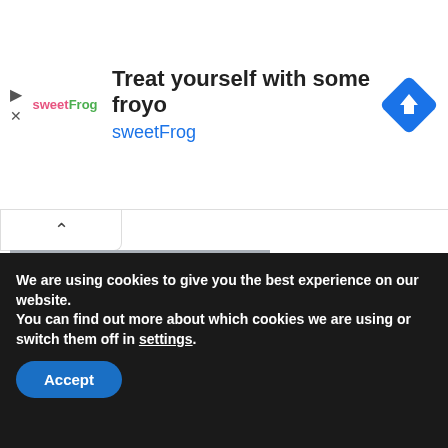[Figure (screenshot): Advertisement banner for sweetFrog frozen yogurt with logo, text 'Treat yourself with some froyo', 'sweetFrog', and a blue diamond navigation icon]
[Figure (illustration): Soccer club badge with a soccer ball on top, dark navy hexagon shape, red text, year, and four stars on grey background]
[Figure (other): Hamburger menu button with three horizontal lines in a rectangle border]
We are using cookies to give you the best experience on our website.
You can find out more about which cookies we are using or switch them off in settings.
Accept